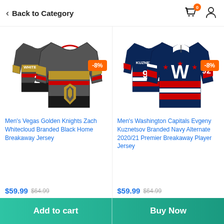Back to Category
[Figure (photo): Men's Vegas Golden Knights Zach Whitecloud #2 Black Home Breakaway Jersey with -8% discount badge]
[Figure (photo): Men's Washington Capitals Evgeny Kuznetsov #92 Navy Alternate 2020/21 Premier Breakaway Player Jersey with -8% discount badge]
Men's Vegas Golden Knights Zach Whitecloud Branded Black Home Breakaway Jersey
Men's Washington Capitals Evgeny Kuznetsov Branded Navy Alternate 2020/21 Premier Breakaway Player Jersey
$59.99  $64.99
$59.99  $64.99
Add to cart   Buy Now